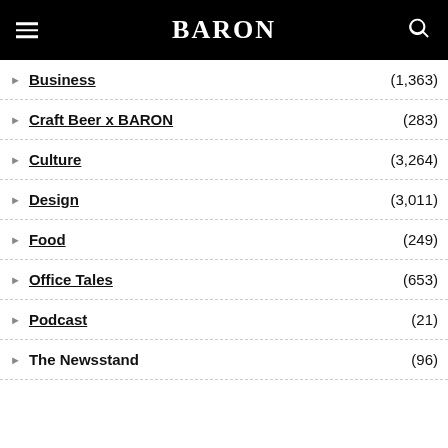BARON
Business (1,363)
Craft Beer x BARON (283)
Culture (3,264)
Design (3,011)
Food (249)
Office Tales (653)
Podcast (21)
The Newsstand (96)